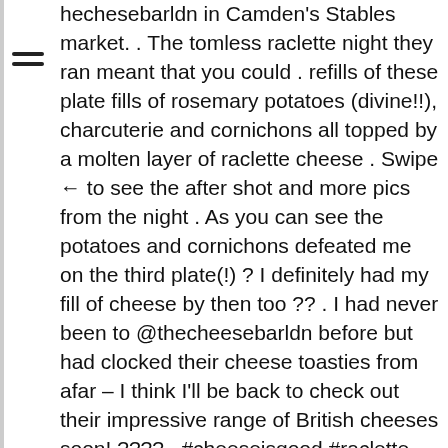hechesebarldn in Camden's Stables market. . The tomless raclette night they ran meant that you could . refills of these plate fills of rosemary potatoes (divine!!), charcuterie and cornichons all topped by a molten layer of raclette cheese . Swipe ← to see the after shot and more pics from the night . As you can see the potatoes and cornichons defeated me on the third plate(!) ? I definitely had my fill of cheese by then too ?? . I had never been to @thecheesebarldn before but had clocked their cheese toasties from afar – I think I'll be back to check out their impressive range of British cheeses soon! ???? . #cheeseisgood #raclette #bottomlessraclette #thecheesebar #london?? #whatskatiedoingblog #mysecretlondon #camdenmarket #camdenstablesmarket #stablesmarketcamden #britishcheese #foodie #instafood #foodiegram #goodfood #EatLoveLust #hackmyplate #getinmybelly #foodforfoodies @meal @dailyfoodfeed #yummy #foodstagram #eeeats #foodpic #forkyeah @food52 #foodlove @love_food #foodfood @thefoodfood